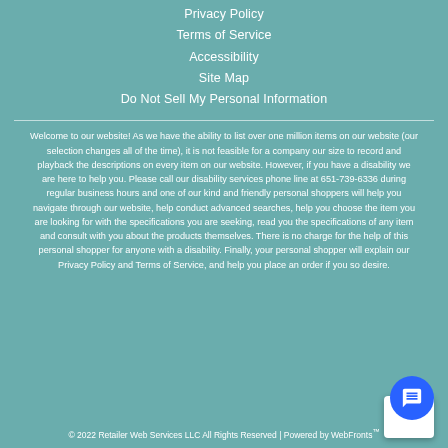Privacy Policy
Terms of Service
Accessibility
Site Map
Do Not Sell My Personal Information
Welcome to our website! As we have the ability to list over one million items on our website (our selection changes all of the time), it is not feasible for a company our size to record and playback the descriptions on every item on our website. However, if you have a disability we are here to help you. Please call our disability services phone line at 651-739-6336 during regular business hours and one of our kind and friendly personal shoppers will help you navigate through our website, help conduct advanced searches, help you choose the item you are looking for with the specifications you are seeking, read you the specifications of any item and consult with you about the products themselves. There is no charge for the help of this personal shopper for anyone with a disability. Finally, your personal shopper will explain our Privacy Policy and Terms of Service, and help you place an order if you so desire.
© 2022 Retailer Web Services LLC All Rights Reserved | Powered by WebFronts™